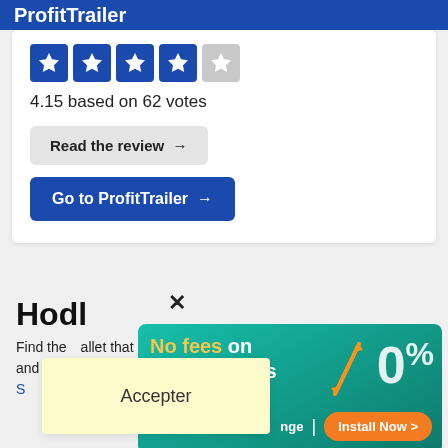ProfitTrailer
[Figure (other): Star rating display showing 4 filled blue stars and 1 half/empty grey star]
4.15 based on 62 votes
Read the review →
Go to ProfitTrailer →
Hodl
Find the wallet that suit your security, ease of use and an...
[Figure (infographic): Advertisement banner: 'No fees on crypto trades 0%' with orange arrows graphic and an 'Install Now' button]
Accepter